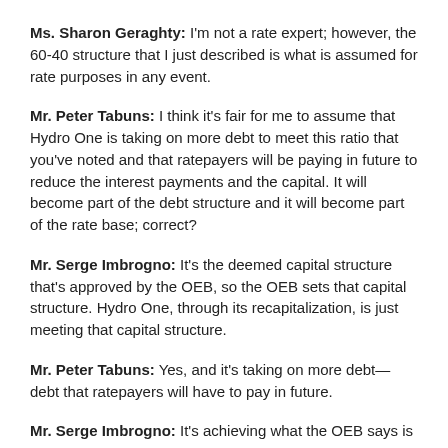Ms. Sharon Geraghty: I'm not a rate expert; however, the 60-40 structure that I just described is what is assumed for rate purposes in any event.
Mr. Peter Tabuns: I think it's fair for me to assume that Hydro One is taking on more debt to meet this ratio that you've noted and that ratepayers will be paying in future to reduce the interest payments and the capital. It will become part of the debt structure and it will become part of the rate base; correct?
Mr. Serge Imbrogno: It's the deemed capital structure that's approved by the OEB, so the OEB sets that capital structure. Hydro One, through its recapitalization, is just meeting that capital structure.
Mr. Peter Tabuns: Yes, and it's taking on more debt—debt that ratepayers will have to pay in future.
Mr. Serge Imbrogno: It's achieving what the OEB says is